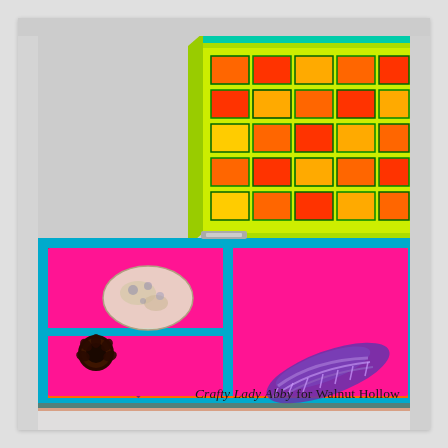[Figure (photo): A colorful hand-decorated wooden keepsake box with the lid open, showing neon orange exterior with teal/blue trim and zigzag patterns, neon green lid interior with stamped geometric patterns in red and orange, and hot pink interior lining with compartments. Inside the box are a seashell, a dark round object, and a purple feather or fabric item.]
Crafty Lady Abby for Walnut Hollow